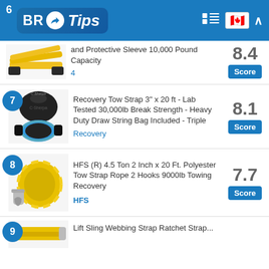BR Tips - product ranking page
6 - (partial) and Protective Sleeve 10,000 Pound Capacity - Score: 8.4
7 - Recovery Tow Strap 3" x 20 ft - Lab Tested 30,000lb Break Strength - Heavy Duty Draw String Bag Included - Triple - Recovery - Score: 8.1
8 - HFS (R) 4.5 Ton 2 Inch x 20 Ft. Polyester Tow Strap Rope 2 Hooks 9000lb Towing Recovery - HFS - Score: 7.7
9 - (partial) Lift Sling Webbing Strap Ratchet Strap...